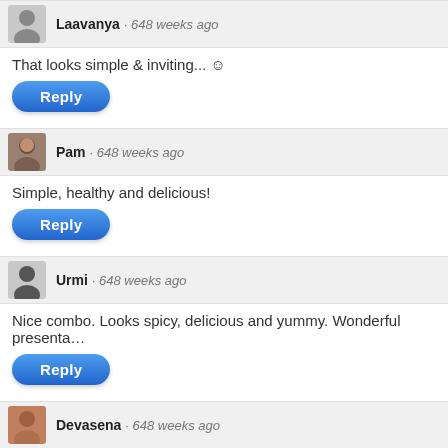Laavanya · 648 weeks ago
That looks simple & inviting... ☺
Reply
Pam · 648 weeks ago
Simple, healthy and delicious!
Reply
Urmi · 648 weeks ago
Nice combo. Looks spicy, delicious and yummy. Wonderful presenta…
Reply
Devasena · 648 weeks ago
looks delicious and nice click
Reply